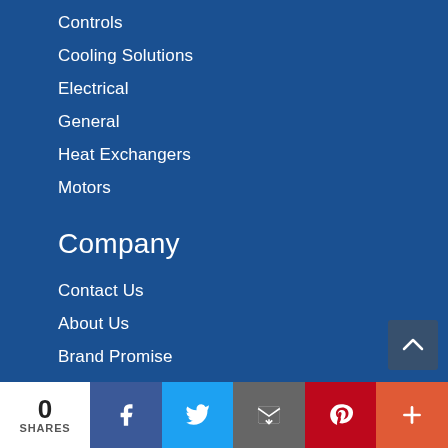Controls
Cooling Solutions
Electrical
General
Heat Exchangers
Motors
Company
Contact Us
About Us
Brand Promise
Meet the Team
Line Card
Packard Academy
News & Upcoming Events
0 SHARES